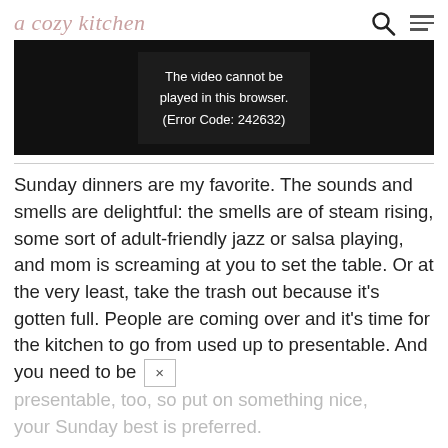a cozy kitchen
[Figure (screenshot): Video player showing error message: 'The video cannot be played in this browser. (Error Code: 242632)']
Sunday dinners are my favorite. The sounds and smells are delightful: the smells are of steam rising, some sort of adult-friendly jazz or salsa playing, and mom is screaming at you to set the table. Or at the very least, take the trash out because it's gotten full. People are coming over and it's time for the kitchen to go from used up to presentable. And you need to be presentable, too, so put on something nice, your Sunday best is preferred.